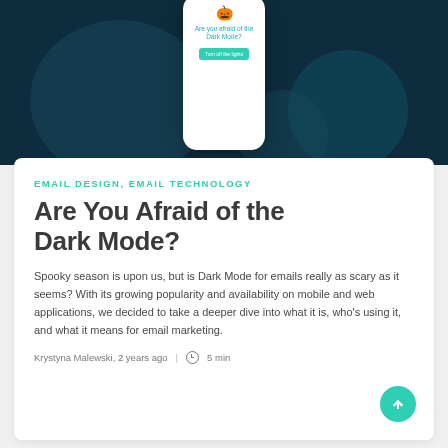[Figure (screenshot): Dark teal/navy hero image showing a mobile phone mockup displaying an email with text 'Are you afraid of the Dark Mode?' and a teal 'Turn off the lights' button, on a dark background with decorative blobs]
EMAIL DESIGN, EMAIL TECHNOLOGY
Are You Afraid of the Dark Mode?
Spooky season is upon us, but is Dark Mode for emails really as scary as it seems? With its growing popularity and availability on mobile and web applications, we decided to take a deeper dive into what it is, who's using it, and what it means for email marketing.
Krystyna Malewski, 2 years ago  |  5 min